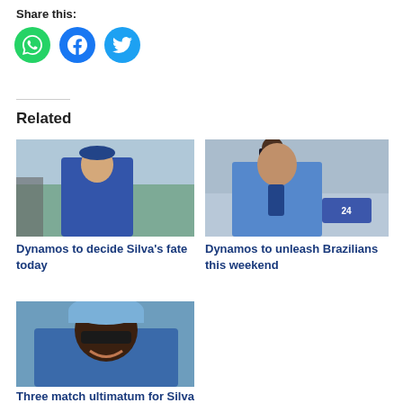Share this:
[Figure (infographic): Three social media share buttons: WhatsApp (green), Facebook (blue), Twitter (light blue)]
Related
[Figure (photo): Man in blue polo shirt at a football stadium]
Dynamos to decide Silva's fate today
[Figure (photo): Man being interviewed at football stadium with News24 microphone]
Dynamos to unleash Brazilians this weekend
[Figure (photo): Man in blue cap and sunglasses smiling]
Three match ultimatum for Silva